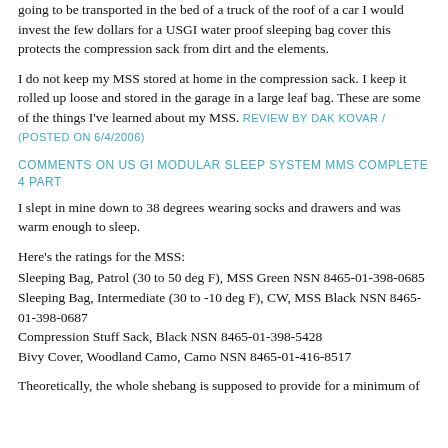going to be transported in the bed of a truck of the roof of a car I would invest the few dollars for a USGI water proof sleeping bag cover this protects the compression sack from dirt and the elements.
I do not keep my MSS stored at home in the compression sack. I keep it rolled up loose and stored in the garage in a large leaf bag. These are some of the things I've learned about my MSS. REVIEW BY DAK KOVAR / (POSTED ON 6/4/2006)
COMMENTS ON US GI MODULAR SLEEP SYSTEM MMS COMPLETE 4 PART
I slept in mine down to 38 degrees wearing socks and drawers and was warm enough to sleep.
Here's the ratings for the MSS:
Sleeping Bag, Patrol (30 to 50 deg F), MSS Green NSN 8465-01-398-0685
Sleeping Bag, Intermediate (30 to -10 deg F), CW, MSS Black NSN 8465-01-398-0687
Compression Stuff Sack, Black NSN 8465-01-398-5428
Bivy Cover, Woodland Camo, Camo NSN 8465-01-416-8517
Theoretically, the whole shebang is supposed to provide for a minimum of